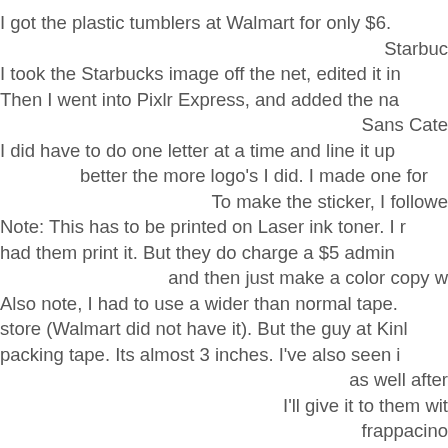I got the plastic tumblers at Walmart for only $6. Starbuc I took the Starbucks image off the net, edited it in Then I went into Pixlr Express, and added the na Sans Cate I did have to do one letter at a time and line it up better the more logo's I did. I made one for To make the sticker, I followe Note: This has to be printed on Laser ink toner. I r had them print it. But they do charge a $5 admin and then just make a color copy w Also note, I had to use a wider than normal tape. store (Walmart did not have it). But the guy at Kinl packing tape. Its almost 3 inches. I've also seen i as well after I'll give it to them wit frappacino